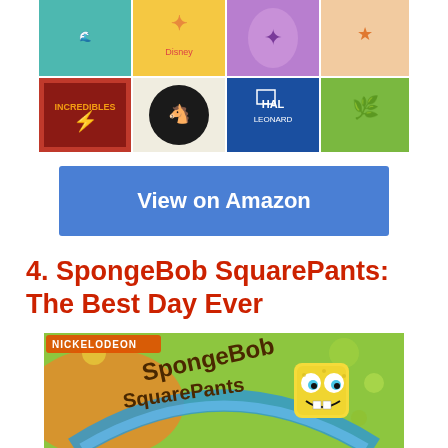[Figure (illustration): Disney animated movie collage showing characters from multiple films including The Little Mermaid, Aladdin, Fantasia, The Incredibles, The Princess and the Frog, and Tangled, with Hal Leonard branding]
[Figure (other): Blue 'View on Amazon' button]
4. SpongeBob SquarePants: The Best Day Ever
[Figure (illustration): SpongeBob SquarePants album cover featuring SpongeBob character with Nickelodeon branding on colorful green/orange background with 'SpongeBob SquarePants' text in large letters]